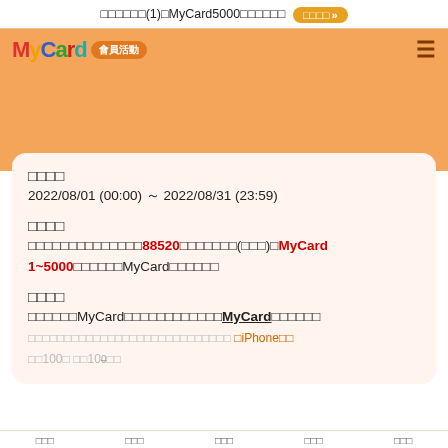□□□□□□(1)□MyCard5000□□□□□□ □□□□»
[Figure (screenshot): MyCard 會員活動 navigation bar with logo and hamburger menu on orange background]
□□□□
2022/08/01 (00:00) ～ 2022/08/31 (23:59)
□□□□
□□□□□□□□□□□□□□88520□□□□□□□(□□□)□MyCard 1~5000□□□□□□MyCard□□□□□□
□□□□
□□□□□□MyCard□□□□□□□□□□□□□MyCard□□□□□□□□□□□□□□□□□□□□□□□□□□□□□□□iPhone□□□□100□ □□100□□□□□□□□ □□□□ □□□□ □□□□